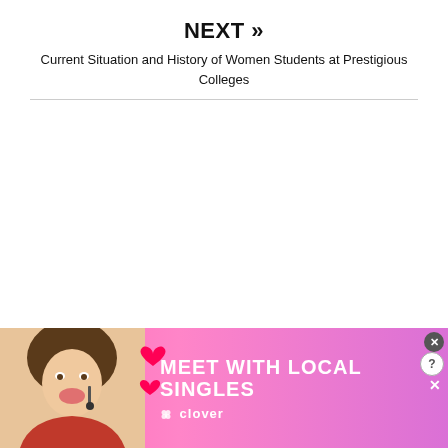NEXT »
Current Situation and History of Women Students at Prestigious Colleges
[Figure (illustration): Advertisement banner for Clover dating app reading 'Meet with Local Singles' with photo of a smiling woman and decorative hearts, with close buttons in the corner]